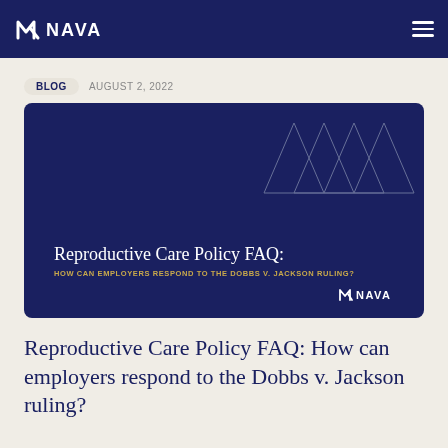NAVA
BLOG  AUGUST 2, 2022
[Figure (illustration): Dark navy blue card with decorative geometric triangle outlines in top-right corner. Contains white text reading 'Reproductive Care Policy FAQ:' and gold/yellow subtitle text 'HOW CAN EMPLOYERS RESPOND TO THE DOBBS V. JACKSON RULING?' with NAVA logo in bottom-right corner.]
Reproductive Care Policy FAQ: How can employers respond to the Dobbs v. Jackson ruling?